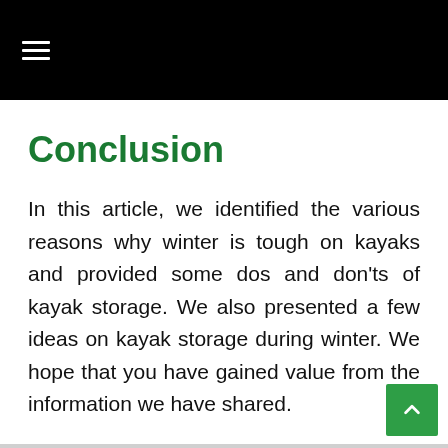☰
Conclusion
In this article, we identified the various reasons why winter is tough on kayaks and provided some dos and don'ts of kayak storage. We also presented a few ideas on kayak storage during winter. We hope that you have gained value from the information we have shared.